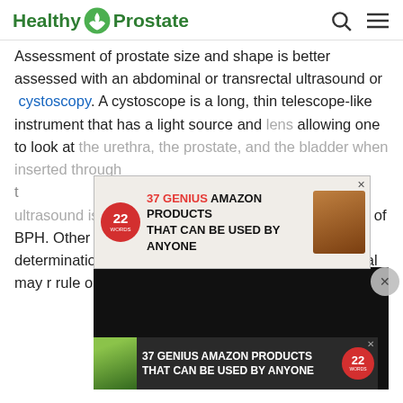Healthy Prostate
Assessment of prostate size and shape is better assessed with an abdominal or transrectal ultrasound or cystoscopy. A cystoscope is a long, thin telescope-like instrument that has a light source and lens allowing one to look at the urethra, the prostate, and the bladder when inserted through the urethra. Cystoscopy and/or ultrasound is recommended prior to surgical treatment of BPH. Other tests the doctor may perform include: bladder scan determination and uroflowmetry. A PSA is obtained and if abnormal may raise concern to rule out prostate cancer.
The American Urological Association recommends that men with symptoms which assess a